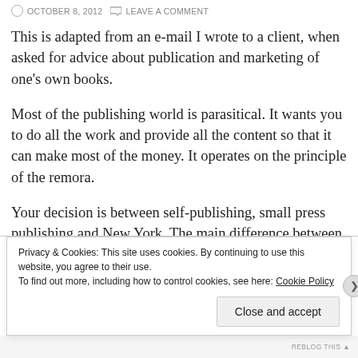OCTOBER 8, 2012  LEAVE A COMMENT
This is adapted from an e-mail I wrote to a client, when asked for advice about publication and marketing of one's own books.
Most of the publishing world is parasitical. It wants you to do all the work and provide all the content so that it can make most of the money. It operates on the principle of the remora.
Your decision is between self-publishing, small press publishing and New York. The main difference between the three is that with New York, New York gets all the money and also locks up more of the rights. Small press probably treats...
Privacy & Cookies: This site uses cookies. By continuing to use this website, you agree to their use.
To find out more, including how to control cookies, see here: Cookie Policy